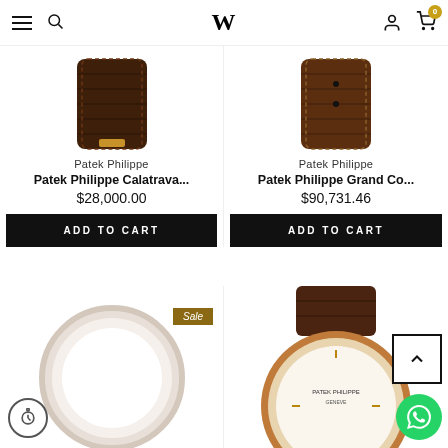W (logo), navigation menu, search, account, cart (0)
[Figure (photo): Patek Philippe watch with dark brown crocodile leather strap, top portion visible]
Patek Philippe
Patek Philippe Calatrava...
$28,000.00
ADD TO CART
[Figure (photo): Patek Philippe watch with brown crocodile leather strap, top portion visible]
Patek Philippe
Patek Philippe Grand Co...
$90,731.46
ADD TO CART
[Figure (photo): Patek Philippe watch with white/cream leather strap, Sale badge visible]
Sale
[Figure (photo): Patek Philippe watch with rose gold case and brown crocodile leather strap, PATEK PHILIPPE text on dial visible]